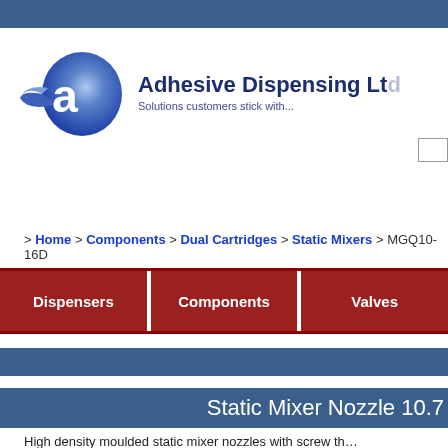[Figure (logo): Adhesive Dispensing Ltd logo with a blue teardrop 'a' shape and company name. Tagline: Solutions customers stick with...]
> Home > Components > Dual Cartridges > Static Mixers > MGQ10-16D
Dispensers | Components | Valves
Static Mixer Nozzle 10.7
High density moulded static mixer nozzles with screw th...